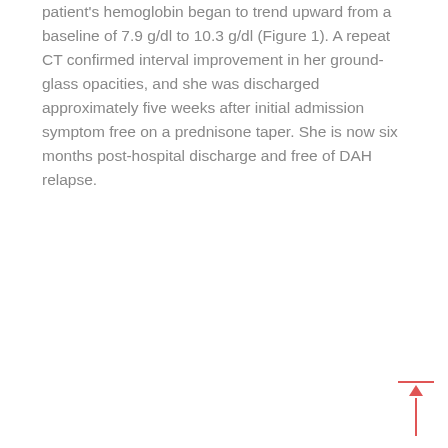patient's hemoglobin began to trend upward from a baseline of 7.9 g/dl to 10.3 g/dl (Figure 1). A repeat CT confirmed interval improvement in her ground-glass opacities, and she was discharged approximately five weeks after initial admission symptom free on a prednisone taper. She is now six months post-hospital discharge and free of DAH relapse.